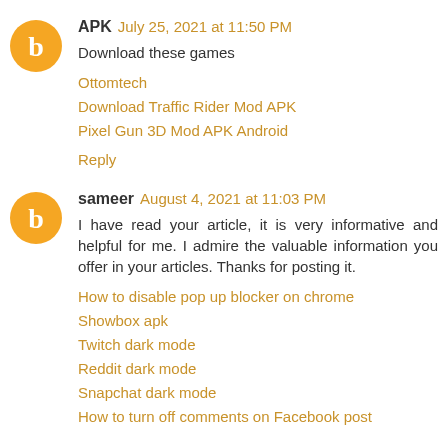APK  July 25, 2021 at 11:50 PM
Download these games
Ottomtech
Download Traffic Rider Mod APK
Pixel Gun 3D Mod APK Android
Reply
sameer  August 4, 2021 at 11:03 PM
I have read your article, it is very informative and helpful for me. I admire the valuable information you offer in your articles. Thanks for posting it.
How to disable pop up blocker on chrome
Showbox apk
Twitch dark mode
Reddit dark mode
Snapchat dark mode
How to turn off comments on Facebook post